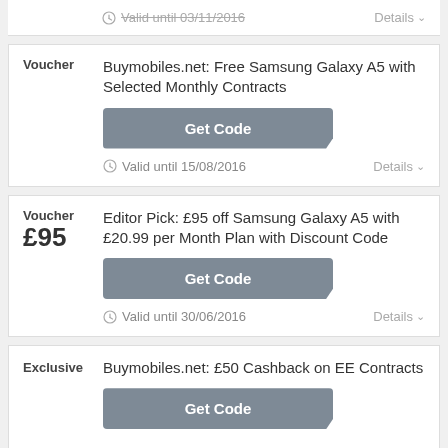Valid until 03/11/2016 | Details
Voucher | Buymobiles.net: Free Samsung Galaxy A5 with Selected Monthly Contracts
Get Code
Valid until 15/08/2016 | Details
Voucher £95 | Editor Pick: £95 off Samsung Galaxy A5 with £20.99 per Month Plan with Discount Code
Get Code
Valid until 30/06/2016 | Details
Exclusive | Buymobiles.net: £50 Cashback on EE Contracts
Get Code